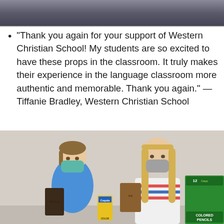[Figure (photo): Top portion of a group photo, partially visible at the top of the page]
"Thank you again for your support of Western Christian School! My students are so excited to have these props in the classroom. It truly makes their experience in the language classroom more authentic and memorable. Thank you again." — Tiffanie Bradley, Western Christian School
[Figure (photo): Two young female students wearing face masks holding school supplies including Crayola colored pencils and other boxes, standing against a light wall]